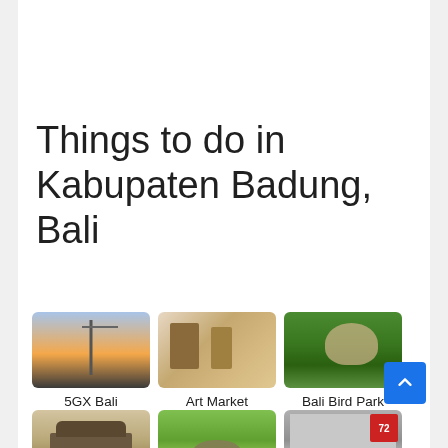Things to do in Kabupaten Badung, Bali
[Figure (photo): Power transmission tower at sunset (5GX Bali)]
5GX Bali
[Figure (photo): Art Market Kumbasari interior with handicrafts]
Art Market Kumbasari
[Figure (photo): Family with child at Bali Bird Park]
Bali Bird Park
[Figure (photo): Entrance to Bali Museum with traditional architecture]
Bali Museum
[Figure (photo): Elephants at Bali Safari and Marine Park]
Bali Safari and Marine
[Figure (photo): Bali Sea Turtle with Indonesia 72nd anniversary logo]
Bali Sea Turtle